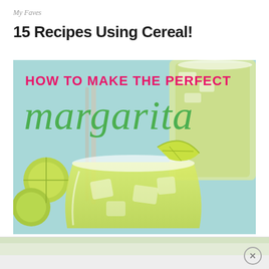My Faves
15 Recipes Using Cereal!
[Figure (photo): A margarita drink photo with text overlay reading 'HOW TO MAKE THE PERFECT margarita'. Shows a salt-rimmed glass with yellow-green margarita and lime wedge garnish, limes in background, on a light blue wooden surface.]
[Figure (photo): Bottom advertisement banner strip, partially visible promotional image, with a close/dismiss X button in a circle on the right side.]